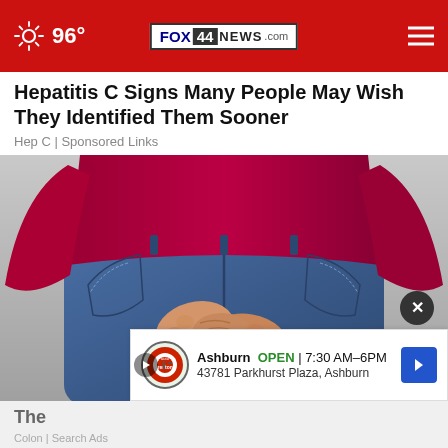96° FOX 44 NEWS.com
Hepatitis C Signs Many People May Wish They Identified Them Sooner
Hep C | Sponsored Links
[Figure (photo): Person in red long-sleeve top and blue jeans, hands clasped behind their back at the waist level, viewed from behind against a gray background.]
The
Colon | Search Ads
Ashburn  OPEN  7:30 AM–6PM  43781 Parkhurst Plaza, Ashburn